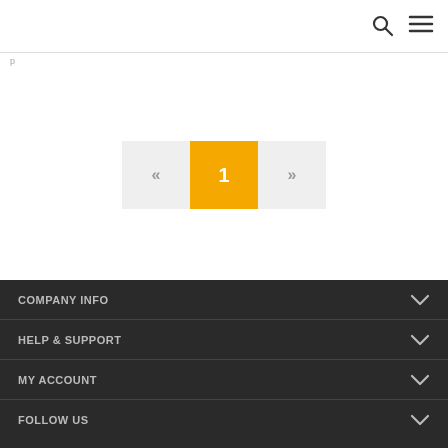navigation icons: search, menu
[Figure (screenshot): Pagination control with prev (<<), current page 1 (highlighted in yellow/orange), and next (>>) buttons]
COMPANY INFO | HELP & SUPPORT | MY ACCOUNT | FOLLOW US